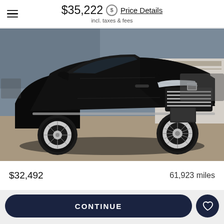$35,222 incl. taxes & fees — Price Details
[Figure (photo): Black Cadillac XT5 SUV photographed in a dealership lot from front-right angle]
$32,492
61,923 miles
1 of 15
CONTINUE